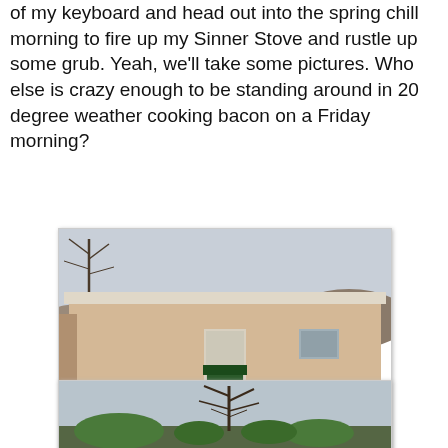of my keyboard and head out into the spring chill morning to fire up my Sinner Stove and rustle up some grub. Yeah, we'll take some pictures. Who else is crazy enough to be standing around in 20 degree weather cooking bacon on a Friday morning?
[Figure (photo): Outdoor scene showing a small tan/beige stucco building with a flat roof. In front of the building is a long concrete ledge or bench with a green camp stove and white propane tank. The ground is dry dirt/gravel. Bare winter trees and hills are visible in the background under a cloudy sky.]
[Figure (photo): Outdoor scene with bare trees in winter and green shrubs in background under an overcast sky.]